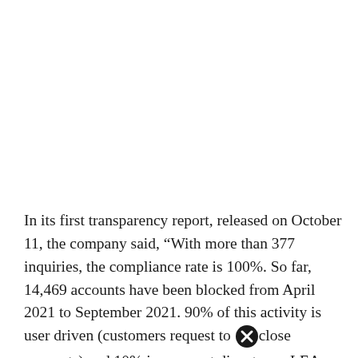In its first transparency report, released on October 11, the company said, “With more than 377 inquiries, the compliance rate is 100%. So far, 14,469 accounts have been blocked from April 2021 to September 2021. 90% of this activity is user driven (customers request to close accounts) and 10% is payment disputes or LEA (law enforcement). ) Started by the legal team